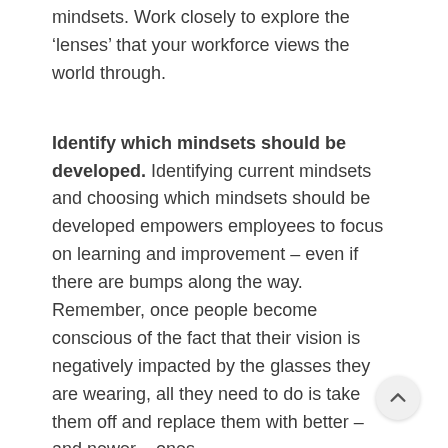mindsets. Work closely to explore the 'lenses' that your workforce views the world through.
Identify which mindsets should be developed. Identifying current mindsets and choosing which mindsets should be developed empowers employees to focus on learning and improvement – even if there are bumps along the way. Remember, once people become conscious of the fact that their vision is negatively impacted by the glasses they are wearing, all they need to do is take them off and replace them with better – and newer – ones.
If you want to develop a truly agile workforce in your organisation, for you to understand better